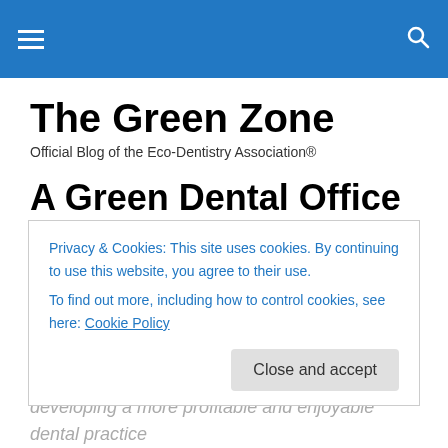The Green Zone — navigation header with hamburger menu and search icon
The Green Zone
Official Blog of the Eco-Dentistry Association®
A Green Dental Office Is a Thriving Dental Office
We recently had the profound pleasure of connecting with
Privacy & Cookies: This site uses cookies. By continuing to use this website, you agree to their use.
To find out more, including how to control cookies, see here: Cookie Policy
Close and accept
developing a more profitable and enjoyable dental practice